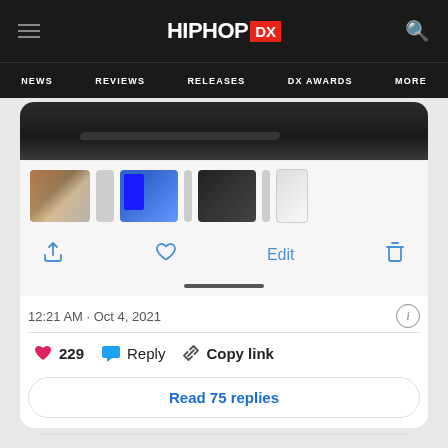HIPHOP DX — NEWS | REVIEWS | RELEASES | DX AWARDS | MORE
[Figure (screenshot): Screenshot of a tweet on HipHopDX website showing thumbnail images of music/phone content, action icons (share, like, edit, delete), timestamp 12:21 AM · Oct 4, 2021, info icon, 229 likes, Reply, Copy link buttons, and Read 75 replies button]